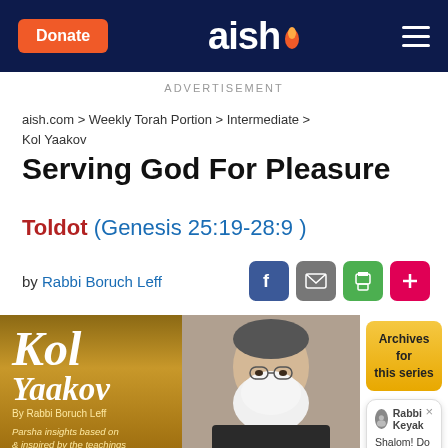aish
ADVERTISEMENT
aish.com > Weekly Torah Portion > Intermediate > Kol Yaakov
Serving God For Pleasure
Toldot (Genesis 25:19-28:9)
by Rabbi Boruch Leff
[Figure (screenshot): Book cover of Kol Yaakov by Rabbi Boruch Leff]
[Figure (photo): Photo of Rabbi]
Archives for this series
Shalom! Do you have a question? I'm online now. Ask me here!